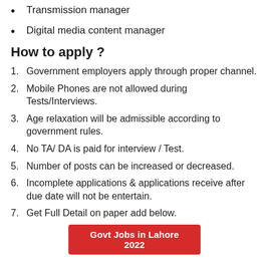Transmission manager
Digital media content manager
How to apply ?
1. Government employers apply through proper channel.
2. Mobile Phones are not allowed during Tests/Interviews.
3. Age relaxation will be admissible according to government rules.
4. No TA/ DA is paid for interview / Test.
5. Number of posts can be increased or decreased.
6. Incomplete applications & applications receive after due date will not be entertain.
7. Get Full Detail on paper add below.
Govt Jobs in Lahore 2022